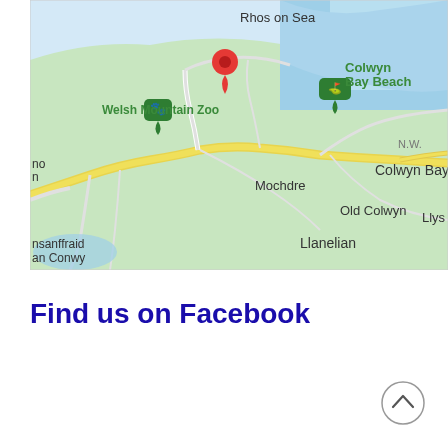[Figure (map): Google Maps screenshot showing the area around Colwyn Bay, Wales. Shows Rhos on Sea to the north, Welsh Mountain Zoo and Mochdre to the west, Colwyn Bay in the center with a red location pin, Colwyn Bay Beach with a green marker, Old Colwyn to the east, Llanelian to the south-east, and nsanffraid/an Conwy in the bottom-left. A yellow road runs through the map.]
Find us on Facebook